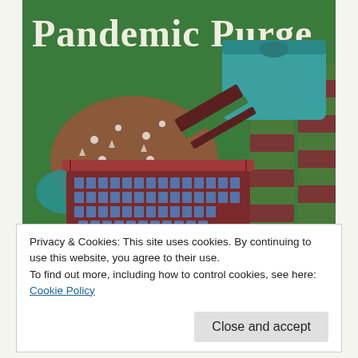[Figure (illustration): Illustration titled 'Pandemic Purge' on a green background showing a laundry basket filled with clothes, with striped leggings/socks and a folded teal sweater visible. A spotted/star-patterned fabric is overflowing from the basket. Bold white serif text reads 'Pandemic Purge' at the top.]
Privacy & Cookies: This site uses cookies. By continuing to use this website, you agree to their use.
To find out more, including how to control cookies, see here: Cookie Policy
Close and accept
exercised less, and have gone from a comfortable size 10 to a tight size 16.